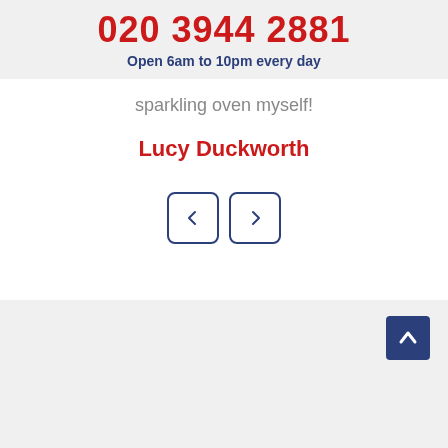020 3944 2881
Open 6am to 10pm every day
sparkling oven myself!
Lucy Duckworth
[Figure (other): Navigation buttons: left arrow and right arrow in rounded square borders]
[Figure (other): Back to top arrow button in dark blue square]